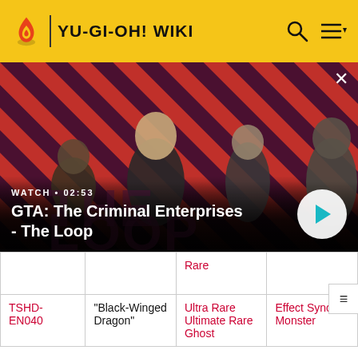YU-GI-OH! WIKI
[Figure (screenshot): Video thumbnail for 'GTA: The Criminal Enterprises - The Loop' with diagonal red and dark striped background and four character figures. Shows WATCH • 02:53 label and a play button.]
|  |  | Rare |  |
| TSHD-EN040 | "Black-Winged Dragon" | Ultra Rare
Ultimate Rare
Ghost | Effect Synchro Monster |